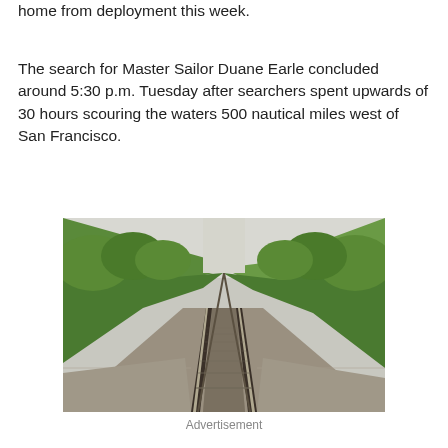home from deployment this week.
The search for Master Sailor Duane Earle concluded around 5:30 p.m. Tuesday after searchers spent upwards of 30 hours scouring the waters 500 nautical miles west of San Francisco.
[Figure (photo): View from a train looking down straight railway tracks into the distance, bordered by green trees and vegetation on both sides.]
Advertisement